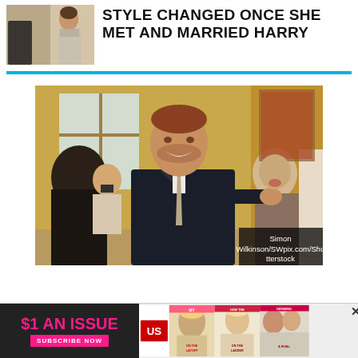STYLE CHANGED ONCE SHE MET AND MARRIED HARRY
[Figure (photo): Prince Harry smiling in a dark suit with a grey tie at an indoor event, with people in background]
Simon Wilkinson/SWpix.com/Shutterstock
[Figure (other): Advertisement banner: $1 AN ISSUE, SUBSCRIBE NOW, US Weekly magazine covers]